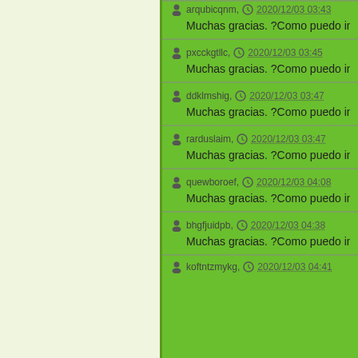arqubicqnm, 2020/12/03 03:43 — Muchas gracias. ?Como puedo iniciar sesio...
pxcckgtllc, 2020/12/03 03:45 — Muchas gracias. ?Como puedo iniciar sesio...
ddklmshig, 2020/12/03 03:47 — Muchas gracias. ?Como puedo iniciar sesio...
rarduslaim, 2020/12/03 03:47 — Muchas gracias. ?Como puedo iniciar sesio...
quewboroef, 2020/12/03 04:08 — Muchas gracias. ?Como puedo iniciar sesio...
bhgfjuidpb, 2020/12/03 04:38 — Muchas gracias. ?Como puedo iniciar sesio...
koftntzmykg, 2020/12/03 04:41